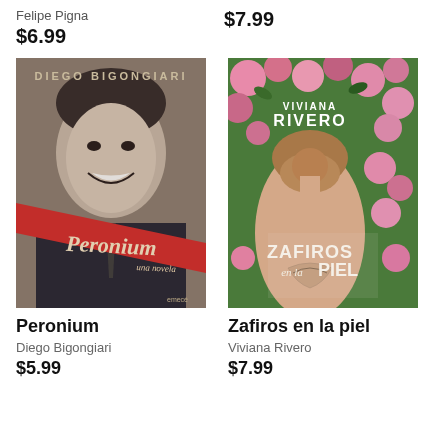Felipe Pigna
$6.99
$7.99
[Figure (illustration): Book cover of Peronium by Diego Bigongiari — black and white photo of a smiling man in a suit with a red diagonal sash bearing the title 'Peronium una novela' in stylized script]
Peronium
Diego Bigongiari
$5.99
[Figure (illustration): Book cover of Zafiros en la piel by Viviana Rivero — woman seen from behind with floral tattoo on back, surrounded by pink flowers, with author name and title in white text]
Zafiros en la piel
Viviana Rivero
$7.99